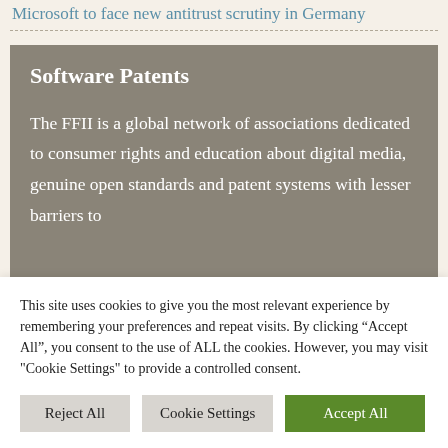Microsoft to face new antitrust scrutiny in Germany
Software Patents
The FFII is a global network of associations dedicated to consumer rights and education about digital media, genuine open standards and patent systems with lesser barriers to
This site uses cookies to give you the most relevant experience by remembering your preferences and repeat visits. By clicking “Accept All”, you consent to the use of ALL the cookies. However, you may visit "Cookie Settings" to provide a controlled consent.